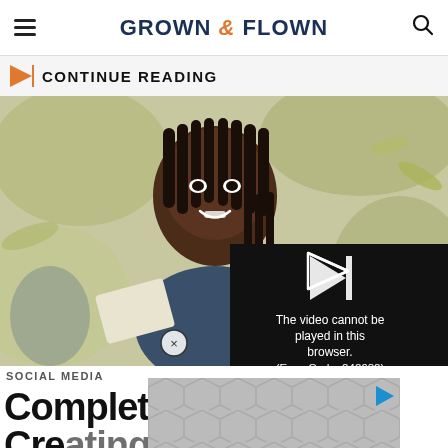GROWN & FLOWN
CONTINUE READING
[Figure (photo): Young Black woman with braided hair smiling outdoors, holding a leaf, bokeh background. Overlaid video error panel on right side reading: The video cannot be played in this browser. (Error Code: 242632)]
SOCIAL MEDIA
Complete Guide to Creating a LinkedIn Profile